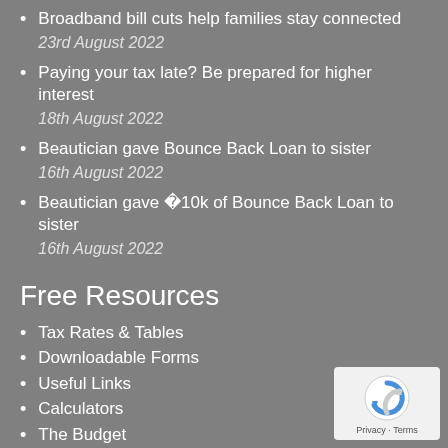Broadband bill cuts help families stay connected
23rd August 2022
Paying your tax late? Be prepared for higher interest
18th August 2022
Beautician gave Bounce Back Loan to sister
16th August 2022
Beautician gave ï¿½10k of Bounce Back Loan to sister
16th August 2022
Free Resources
Tax Rates & Tables
Downloadable Forms
Useful Links
Calculators
The Budget
[Figure (logo): reCAPTCHA badge with Privacy and Terms text]